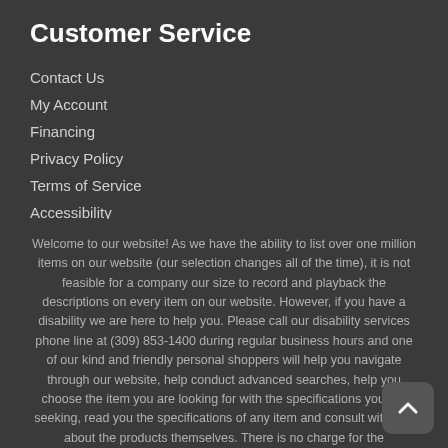Customer Service
Contact Us
My Account
Financing
Privacy Policy
Terms of Service
Accessibility
Site Map
[Figure (logo): Facebook social media icon - circular logo with white F on dark background]
Do Not Sell My Personal Information
Welcome to our website! As we have the ability to list over one million items on our website (our selection changes all of the time), it is not feasible for a company our size to record and playback the descriptions on every item on our website. However, if you have a disability we are here to help you. Please call our disability services phone line at (309) 853-1400 during regular business hours and one of our kind and friendly personal shoppers will help you navigate through our website, help conduct advanced searches, help you choose the item you are looking for with the specifications you are seeking, read you the specifications of any item and consult with you about the products themselves. There is no charge for the